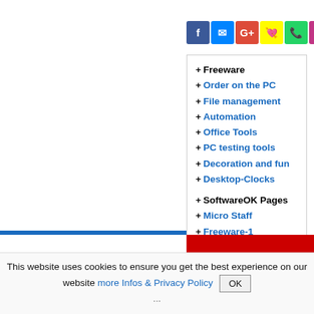[Figure (infographic): Row of social media icon buttons: Facebook, Messenger, Google+, Snapchat, WhatsApp, Instagram, Twitter, LinkedIn, Pinterest, Star/Favorites]
+ Freeware
+ Order on the PC
+ File management
+ Automation
+ Office Tools
+ PC testing tools
+ Decoration and fun
+ Desktop-Clocks
+ SoftwareOK Pages
+ Micro Staff
+ Freeware-1
+ Freeware-2
+ Freeware-3
+ FAQ
+ Downloads
This website uses cookies to ensure you get the best experience on our website more Infos & Privacy Policy OK
...